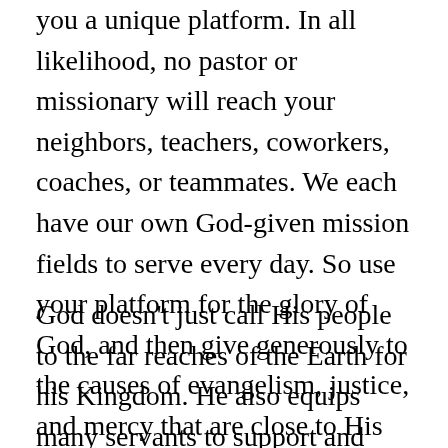you a unique platform. In all likelihood, no pastor or missionary will reach your neighbors, teachers, coworkers, coaches, or teammates. We each have our own God-given mission fields to serve every day. So use your platform for the glory of God, and then give generously to the causes of evangelism, justice, and mercy that are close to His heart.
God doesn't just call His people to the far reaches of the Earth for his Kingdom. He also equips many servants to support and supply workers and to meanwhile represent Him in their own territory right where they live and